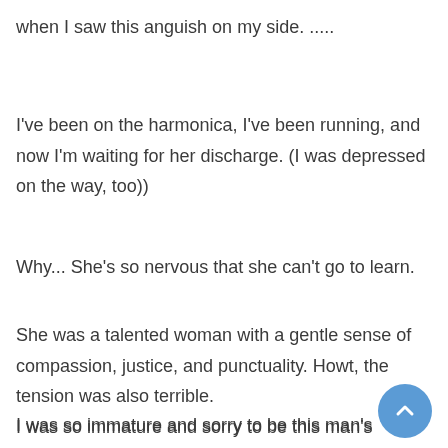when I saw this anguish on my side. .....
I've been on the harmonica, I've been running, and now I'm waiting for her discharge. (I was depressed on the way, too))
Why... She's so nervous that she can't go to learn.
She was a talented woman with a gentle sense of compassion, justice, and punctuality. Howt, the tension was also terrible.
I was so immature and sorry to be this man's mother in the past that I struggled to be the right mother for him